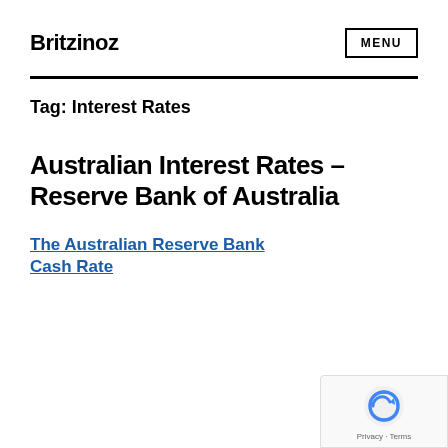Britzinoz
Tag: Interest Rates
Australian Interest Rates – Reserve Bank of Australia
The Australian Reserve Bank Cash Rate